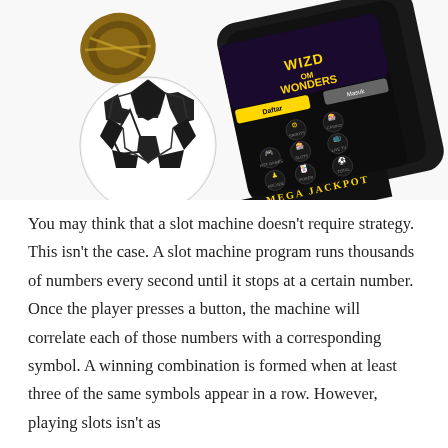[Figure (photo): A smartphone displaying a casino app with 'Wizdom Wonders' slot game, surrounded by a soccer ball, casino chips, and showing 'MEGA JACKPOT' text with numbers.]
You may think that a slot machine doesn't require strategy. This isn't the case. A slot machine program runs thousands of numbers every second until it stops at a certain number. Once the player presses a button, the machine will correlate each of those numbers with a corresponding symbol. A winning combination is formed when at least three of the same symbols appear in a row. However, playing slots isn't as